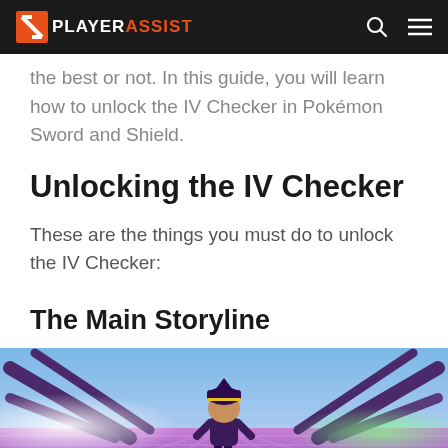PLAYERASSIST
the best or not. In this guide, you will learn how to unlock the IV Checker in Pokémon Sword and Shield.
Unlocking the IV Checker
These are the things you must do to unlock the IV Checker:
The Main Storyline
[Figure (screenshot): Screenshot from Pokémon Sword and Shield showing a character in a stylized arena with purple/pink geometric floor patterns and dramatic lighting effects]